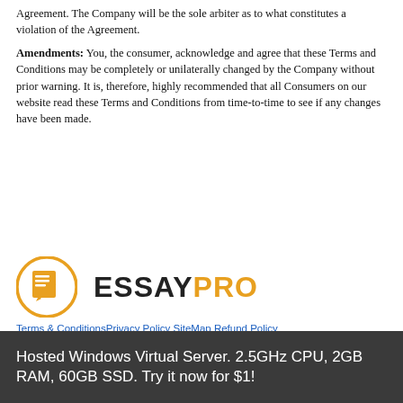Agreement. The Company will be the sole arbiter as to what constitutes a violation of the Agreement.
Amendments: You, the consumer, acknowledge and agree that these Terms and Conditions may be completely or unilaterally changed by the Company without prior warning. It is, therefore, highly recommended that all Consumers on our website read these Terms and Conditions from time-to-time to see if any changes have been made.
[Figure (logo): EssayPro logo with orange circle icon containing a document/pen symbol and bold text ESSAYPRO]
Terms & Conditions  Privacy Policy  SiteMap  Refund Policy
© 2020-2021 comsys-co-jp.somee.com™. All rights reserved.
Web hosting by Somee.com
Hosted Windows Virtual Server. 2.5GHz CPU, 2GB RAM, 60GB SSD. Try it now for $1!